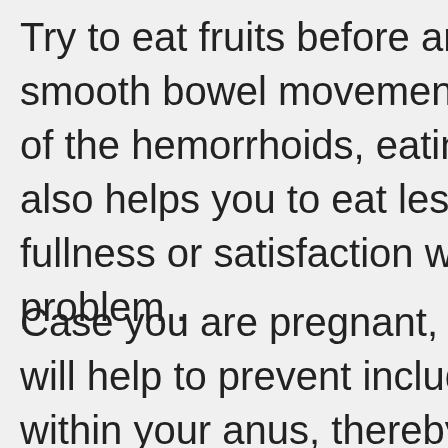Try to eat fruits before and after every meal for smooth bowel movement as well as help of the hemorrhoids, eating fruits before a also helps you to eat less with the addition fullness or satisfaction which is good for problem .
Case you are pregnant, try sleeping on y will help to prevent including pressure an within your anus, thereby help you preve hemorrhoids. Being pregnant is one part women is increasingly vulnerable to hem